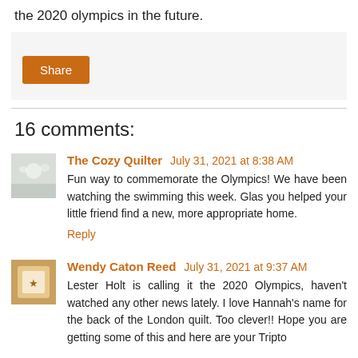the 2020 olympics in the future.
[Figure (other): Share button area with light gray background and orange Share button]
16 comments:
The Cozy Quilter  July 31, 2021 at 8:38 AM
Fun way to commemorate the Olympics! We have been watching the swimming this week. Glas you helped your little friend find a new, more appropriate home.
Reply
Wendy Caton Reed  July 31, 2021 at 9:37 AM
Lester Holt is calling it the 2020 Olympics, haven't watched any other news lately. I love Hannah's name for the back of the London quilt. Too clever!! Hope you are getting some of this and here are your Tripto